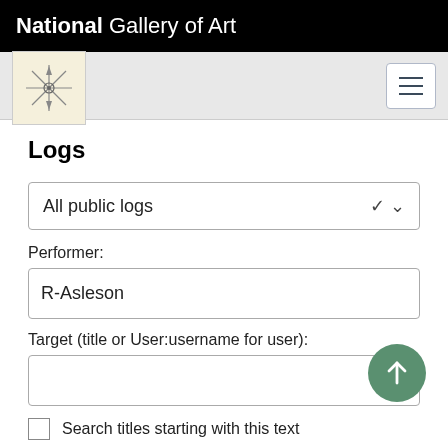National Gallery of Art
Logs
All public logs
Performer:
R-Asleson
Target (title or User:username for user):
Search titles starting with this text
From date (and earlier):